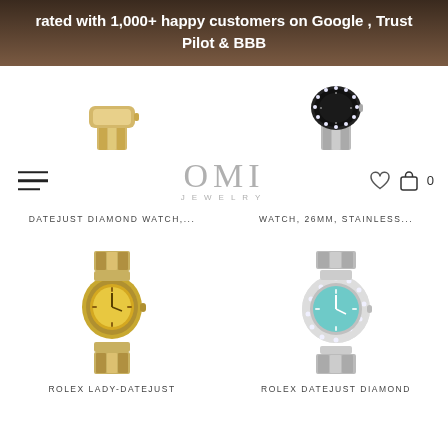rated with 1,000+ happy customers on Google , Trust Pilot & BBB
[Figure (logo): OMI JEWELRY logo with hamburger menu, heart icon, and bag icon with 0]
DATEJUST DIAMOND WATCH,...
WATCH, 26MM, STAINLESS...
[Figure (photo): Rolex Lady-Datejust watch with gold/silver jubilee bracelet and champagne dial]
ROLEX LADY-DATEJUST
[Figure (photo): Rolex Datejust Diamond watch with teal/turquoise dial and diamond bezel on jubilee bracelet]
ROLEX DATEJUST DIAMOND